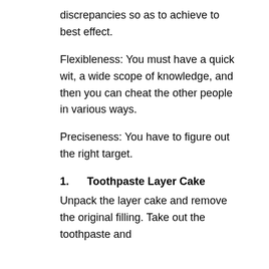discrepancies so as to achieve to best effect.
Flexibleness: You must have a quick wit, a wide scope of knowledge, and then you can cheat the other people in various ways.
Preciseness: You have to figure out the right target.
1.      Toothpaste Layer Cake
Unpack the layer cake and remove the original filling. Take out the toothpaste and